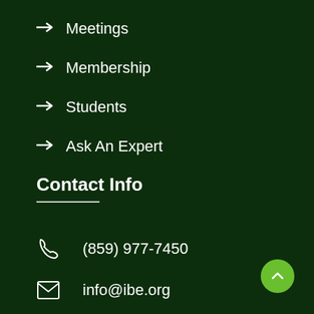→ Meetings
→ Membership
→ Students
→ Ask An Expert
Contact Info
(859) 977-7450
info@ibe.org